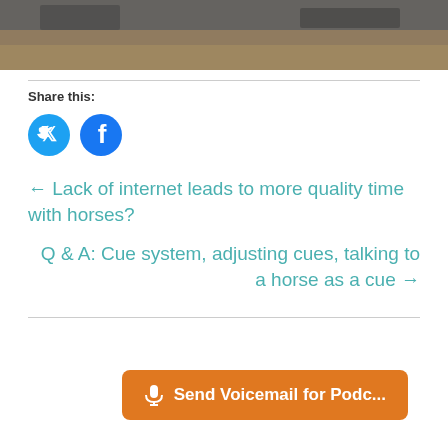[Figure (photo): Partial photo of a horse arena or barn interior, showing sandy ground and structure elements in grayscale/brown tones.]
Share this:
[Figure (illustration): Twitter and Facebook social sharing icon circles in blue.]
← Lack of internet leads to more quality time with horses?
Q & A: Cue system, adjusting cues, talking to a horse as a cue →
🎤 Send Voicemail for Podc...